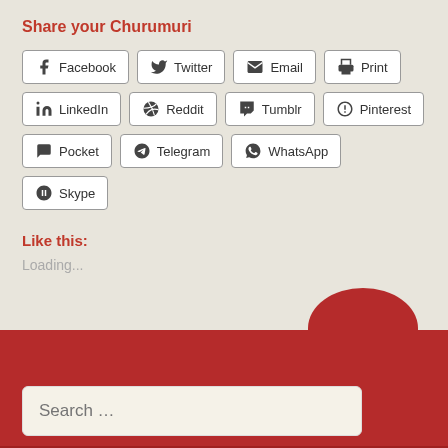Share your Churumuri
Facebook
Twitter
Email
Print
LinkedIn
Reddit
Tumblr
Pinterest
Pocket
Telegram
WhatsApp
Skype
Like this:
Loading...